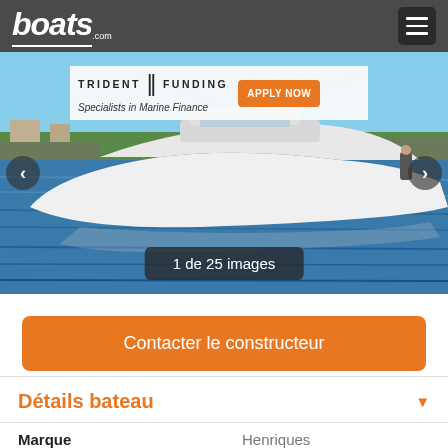boats.com
[Figure (photo): White luxury sport fishing yacht on blue water with marina and greenery in background. Trident Funding advertisement banner overlaid at top with 'APPLY NOW' orange button. Navigation arrows on left and right sides. Image counter showing '1 de 25 images' at bottom.]
Contacter le constructeur
Détails bateau
| Marque |  |
| --- | --- |
| Marque | Henriques |